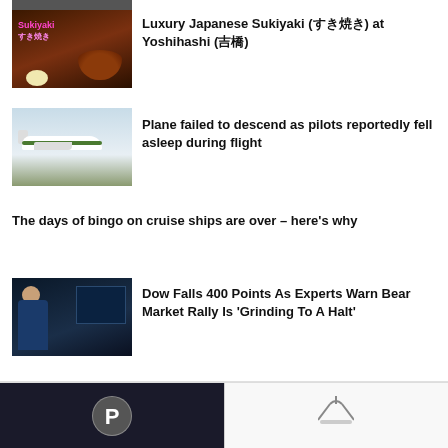[Figure (photo): Partial top image, cropped - appears to be a person]
[Figure (photo): Sukiyaki food thumbnail with pink Sukiyaki label text]
Luxury Japanese Sukiyaki (すき焼き) at Yoshihashi (吉橋)
[Figure (photo): Airplane on runway thumbnail]
Plane failed to descend as pilots reportedly fell asleep during flight
The days of bingo on cruise ships are over – here's why
[Figure (photo): Stock market traders at monitors thumbnail]
Dow Falls 400 Points As Experts Warn Bear Market Rally Is 'Grinding To A Halt'
[Figure (photo): Bottom left card - dark background with circular logo]
[Figure (photo): Bottom right card - hanger on light background]